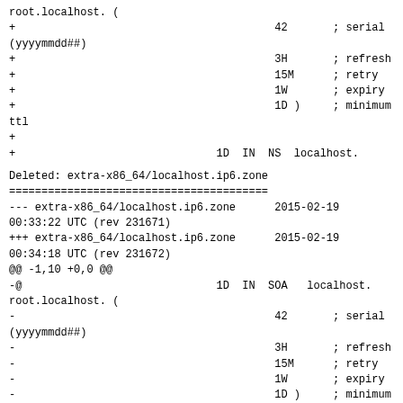root.localhost. (
+                                        42       ; serial
(yyyymmdd##)
+                                        3H       ; refresh
+                                        15M      ; retry
+                                        1W       ; expiry
+                                        1D )     ; minimum
ttl
+
+                               1D  IN  NS  localhost.
Deleted: extra-x86_64/localhost.ip6.zone
--- extra-x86_64/localhost.ip6.zone      2015-02-19
00:33:22 UTC (rev 231671)
+++ extra-x86_64/localhost.ip6.zone      2015-02-19
00:34:18 UTC (rev 231672)
@@ -1,10 +0,0 @@
-@                              1D  IN  SOA   localhost.
root.localhost. (
-                                        42       ; serial
(yyyymmdd##)
-                                        3H       ; refresh
-                                        15M      ; retry
-                                        1W       ; expiry
-                                        1D )     ; minimum
ttl
-
-                               1D  IN  NS
localhost.